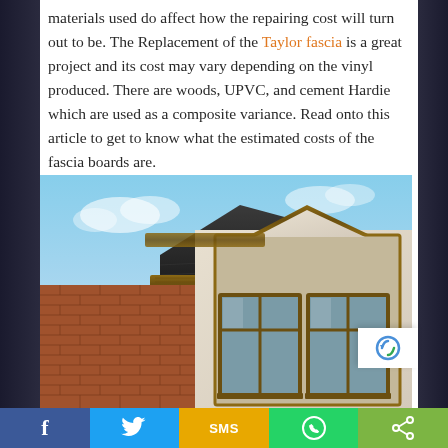materials used do affect how the repairing cost will turn out to be. The Replacement of the Taylor fascia is a great project and its cost may vary depending on the vinyl produced. There are woods, UPVC, and cement Hardie which are used as a composite variance. Read onto this article to get to know what the estimated costs of the fascia boards are.
[Figure (photo): Exterior of a brick house showing wooden fascia boards, gutters, downpipe, and a bay window with large glass panes under a pitched roof, with blue sky in the background.]
Social share bar: Facebook, Twitter, SMS, WhatsApp, Share